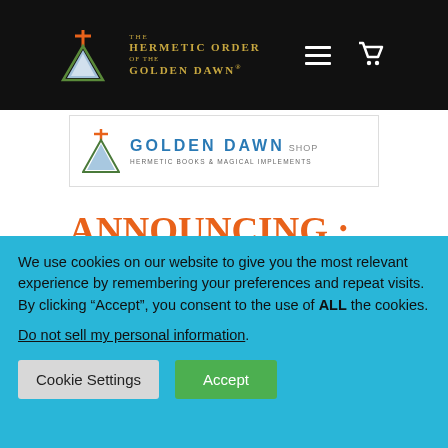The Hermetic Order of the Golden Dawn — navigation bar with logo, hamburger menu, and cart icon
[Figure (logo): Golden Dawn Shop banner logo with triangle/mountain graphic, text 'GOLDEN DAWN SHOP' and 'Hermetic Books & Magical Implements']
ANNOUNCING : The Golden Dawn Shop
Here you will find a variety
We use cookies on our website to give you the most relevant experience by remembering your preferences and repeat visits. By clicking “Accept”, you consent to the use of ALL the cookies.
Do not sell my personal information.
Cookie Settings
Accept